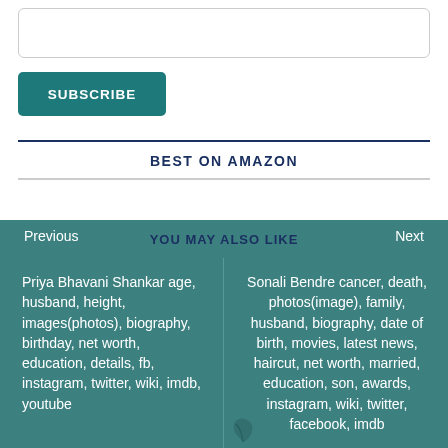[Figure (other): Input text field (subscribe form input box)]
SUBSCRIBE
BEST ON AMAZON
Previous
YOU MAY ALSO LIKE
Next
Priya Bhavani Shankar age, husband, height, images(photos), biography, birthday, net worth, education, details, fb, instagram, twitter, wiki, imdb, youtube
Sonali Bendre cancer, death, photos(image), family, husband, biography, date of birth, movies, latest news, haircut, net worth, married, education, son, awards, instagram, wiki, twitter, facebook, imdb